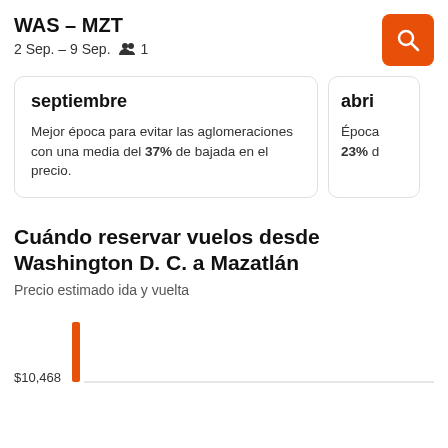WAS – MZT
2 Sep. – 9 Sep.   1
septiembre
Mejor época para evitar las aglomeraciones con una media del 37% de bajada en el precio.
abri
Época ... 23% d
Cuándo reservar vuelos desde Washington D. C. a Mazatlán
Precio estimado ida y vuelta
[Figure (bar-chart): Precio estimado ida y vuelta]